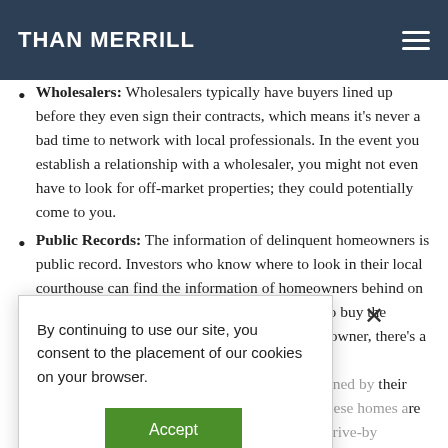THAN MERRILL
Wholesalers: Wholesalers typically have buyers lined up before they even sign their contracts, which means it's never a bad time to network with local professionals. In the event you establish a relationship with a wholesaler, you might not even have to look for off-market properties; they could potentially come to you.
Public Records: The information of delinquent homeowners is public record. Investors who know where to look in their local courthouse can find the information of homeowners behind on payments and send direct mail pieces offering to buy the properties. If the distress is taking a tole on the owner, there's a [obscured] r listing the [obscured] d up for auction their owners. r to recoup re not listed, ing opportunity. s will have orhoods trying to spot distressed homes. Unkempt yards, for
By continuing to use our site, you consent to the placement of our cookies on your browser.
Accept